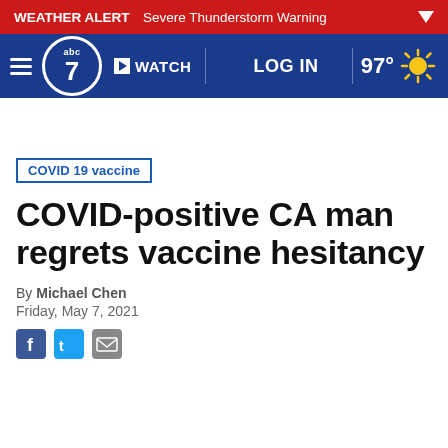WEATHER ALERT Severe Thunderstorm Warning
abc7 WATCH LOG IN 97°
COVID 19 vaccine
COVID-positive CA man regrets vaccine hesitancy
By Michael Chen
Friday, May 7, 2021